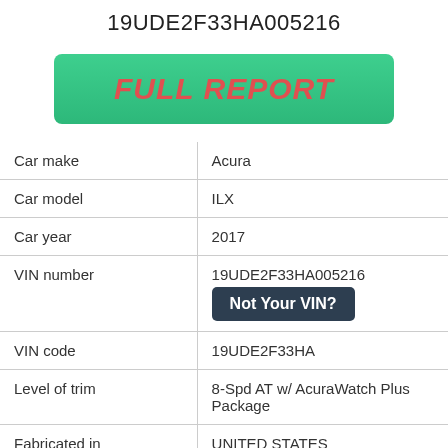19UDE2F33HA005216
[Figure (other): Green button labeled FULL REPORT]
| Field | Value |
| --- | --- |
| Car make | Acura |
| Car model | ILX |
| Car year | 2017 |
| VIN number | 19UDE2F33HA005216
Not Your VIN? |
| VIN code | 19UDE2F33HA |
| Level of trim | 8-Spd AT w/ AcuraWatch Plus Package |
| Fabricated in | UNITED STATES |
| Production sequence number | 011344 |